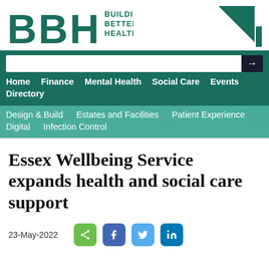[Figure (logo): BBH Building Better Healthcare logo with dark teal letters BBH, tagline, and triangle graphic]
Home   Finance   Mental Health   Social Care   Events   Directory
Design & Build   Estates and Facilities   Patient Experience   Digital   Infection Control
Essex Wellbeing Service expands health and social care support
23-May-2022